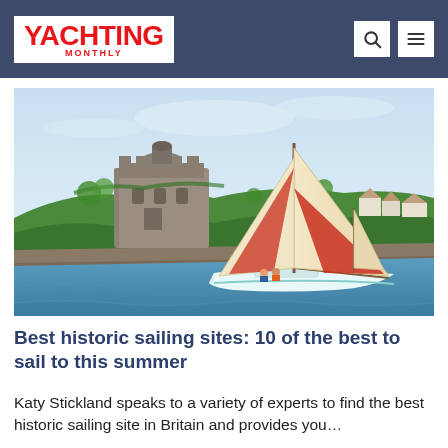YACHTING MONTHLY
[Figure (photo): A classic wooden sailboat with cream and red sails sailing on blue water in front of a historic stone castle on a green hillside]
Best historic sailing sites: 10 of the best to sail to this summer
Katy Stickland speaks to a variety of experts to find the best historic sailing site in Britain and provides you…